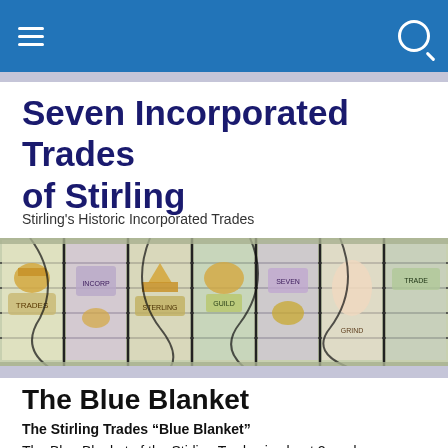Seven Incorporated Trades of Stirling — navigation bar
Seven Incorporated Trades of Stirling
Stirling's Historic Incorporated Trades
[Figure (photo): Stained glass window panels showing the heraldic emblems of the Seven Incorporated Trades of Stirling, with crowns, scrolls, hands and other trade symbols in colourful glass panels]
The Blue Blanket
The Stirling Trades “Blue Blanket”
The Blue Blanket of the Stirling Trades is about 2 yards